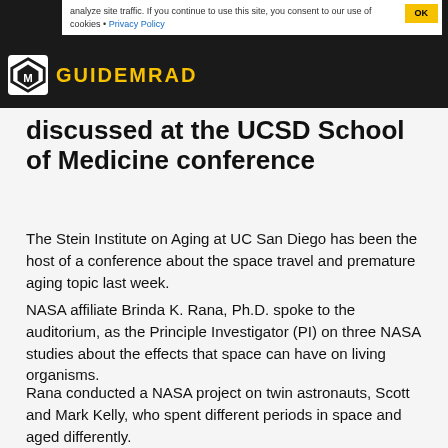GuideMeRad
analyze site traffic. If you continue to use this site, you consent to our use of cookies • Privacy Policy
discussed at the UCSD School of Medicine conference
The Stein Institute on Aging at UC San Diego has been the host of a conference about the space travel and premature aging topic last week.
NASA affiliate Brinda K. Rana, Ph.D. spoke to the auditorium, as the Principle Investigator (PI) on three NASA studies about the effects that space can have on living organisms.
Rana conducted a NASA project on twin astronauts, Scott and Mark Kelly, who spent different periods in space and aged differently.
Rana explained the way space travel impacts the cardiovascular system, as zero gravity severely affects circulation, muscle